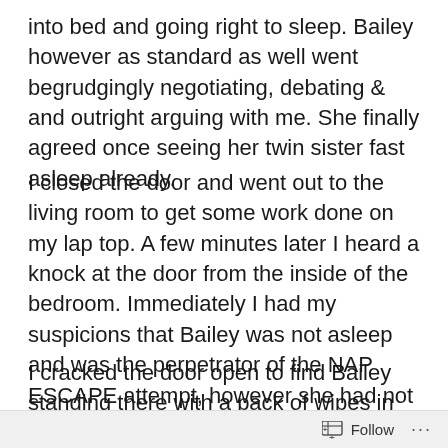into bed and going right to sleep. Bailey however as standard as well went begrudgingly negotiating, debating & and outright arguing with me. She finally agreed once seeing her twin sister fast asleep already.
I closed the door and went out to the living room to get some work done on my lap top. A few minutes later I heard a knock at the door from the inside of the bedroom. Immediately I had my suspicions that Bailey was not asleep and was the perpetrator of the NAP ESCAPE attempt, however she had not yet mastered turning the door knob yet.
I cracked the door open to find Bailey standing there with a pack of wipes in her hand looking up at me saying, “Daddy, poo poo.” I looked back down at her
Follow ···